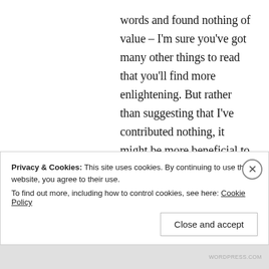words and found nothing of value – I'm sure you've got many other things to read that you'll find more enlightening. But rather than suggesting that I've contributed nothing, it might be more beneficial to me and the readers of this blog if you instead included additional resources for those of us who don't know these stories so well and who may
Privacy & Cookies: This site uses cookies. By continuing to use this website, you agree to their use.
To find out more, including how to control cookies, see here: Cookie Policy
Close and accept